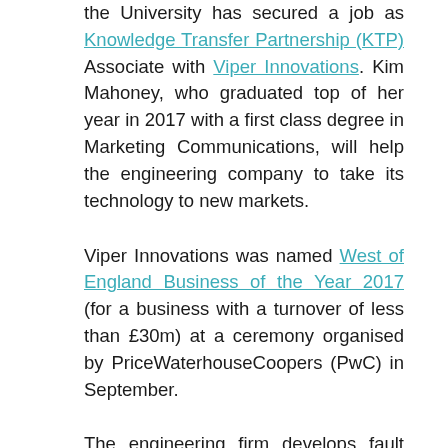the University has secured a job as Knowledge Transfer Partnership (KTP) Associate with Viper Innovations. Kim Mahoney, who graduated top of her year in 2017 with a first class degree in Marketing Communications, will help the engineering company to take its technology to new markets.
Viper Innovations was named West of England Business of the Year 2017 (for a business with a turnover of less than £30m) at a ceremony organised by PriceWaterhouseCoopers (PwC) in September.
The engineering firm develops fault detection systems that can monitor structural defects in cables and their insulation. Historically, it has worked with the oil and gas industries, but saw opportunities to transfer the highly sought-after technology to other sectors. To pave the way for this diversification, in